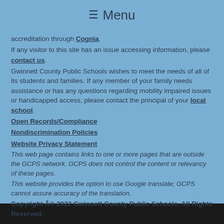≡ Menu
accreditation through Cognia. If any visitor to this site has an issue accessing information, please contact us. Gwinnett County Public Schools wishes to meet the needs of all of its students and families. If any member of your family needs assistance or has any questions regarding mobility impaired issues or handicapped access, please contact the principal of your local school.
Open Records/Compliance
Nondiscrimination Policies
Website Privacy Statement
This web page contains links to one or more pages that are outside the GCPS network. GCPS does not control the content or relevancy of these pages.
This website provides the option to use Google translate; GCPS cannot assure accuracy of the translation.
Copyright © 2022 Gwinnett County Public Schools. All Rights Reserved.